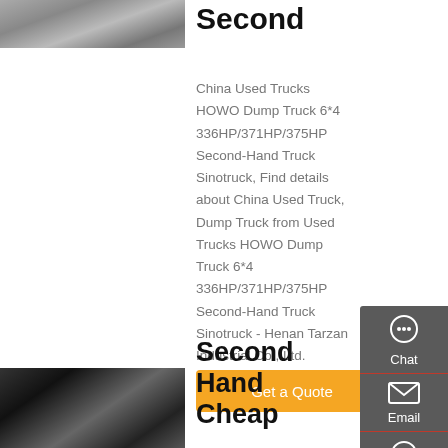[Figure (photo): Black and white photo of a truck wheel/track at the top left]
Second
China Used Trucks HOWO Dump Truck 6*4 336HP/371HP/375HP Second-Hand Truck Sinotruck, Find details about China Used Truck, Dump Truck from Used Trucks HOWO Dump Truck 6*4 336HP/371HP/375HP Second-Hand Truck Sinotruck - Henan Tarzan Industrial Co., Ltd.
[Figure (screenshot): Get a Quote orange button]
[Figure (photo): Black and white close-up photo of truck wheel at the bottom left]
Second Hand Cheap
[Figure (infographic): Right sidebar with Chat, Email, Contact, Top navigation icons on dark grey background]